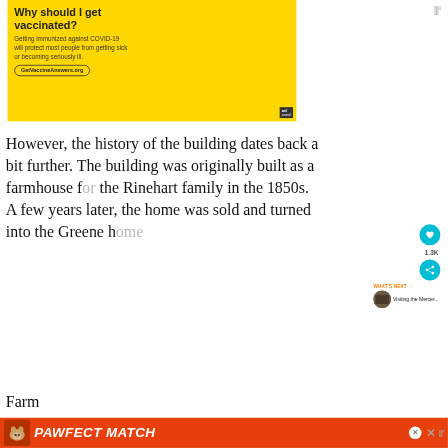[Figure (screenshot): Yellow advertisement banner for GetVaccineAnswers.org with text 'Why should I get vaccinated? Getting immunized against COVID-19 will protect most people from getting sick or becoming seriously ill.' with Ad Council logo and URL button.]
However, the history of the building dates back a bit further. The building was originally built as a farmhouse for the Rinehart family in the 1850s. A few years later, the home was sold and turned into the Greene h... Farm
[Figure (screenshot): Bottom advertisement banner: orange background with cat image and 'PAWFECT MATCH' text in white bold italic font.]